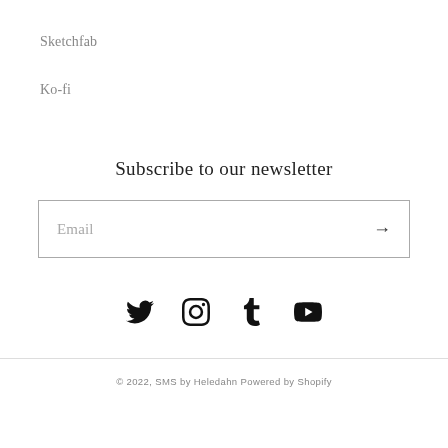Sketchfab
Ko-fi
Subscribe to our newsletter
Email
[Figure (infographic): Social media icons: Twitter, Instagram, Tumblr, YouTube]
© 2022, SMS by Heledahn Powered by Shopify